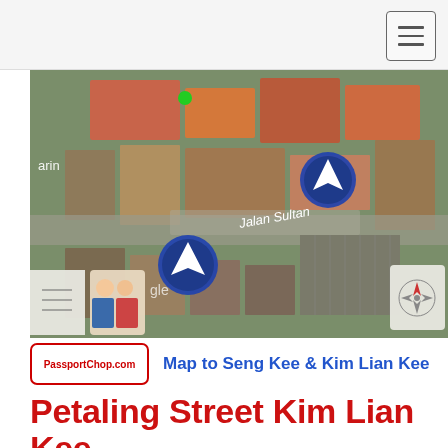[Figure (map): Aerial/satellite map showing Jalan Sultan area in Petaling Street, Kuala Lumpur, with navigation markers and blue circle arrows indicating restaurant locations. Map includes 'arin' label on left and 'Jalan Sultan' street label.]
Map to Seng Kee & Kim Lian Kee
Petaling Street Kim Lian Kee 吉隆坡茨厂街金莲记
There are 2 branches of Kim Lian Kee Restaurant 金莲记茨廠街 in Petaling Street Market (marked the red and green star in the map above).  Opt for the older shop (the red star) which is located opposite Hong Leong bank – but do note that this branch is open after 5.30pm (the other